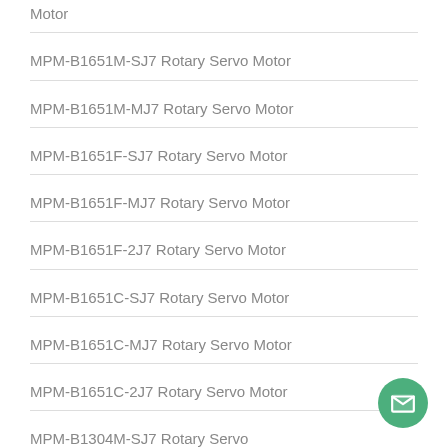Motor
MPM-B1651M-SJ7 Rotary Servo Motor
MPM-B1651M-MJ7 Rotary Servo Motor
MPM-B1651F-SJ7 Rotary Servo Motor
MPM-B1651F-MJ7 Rotary Servo Motor
MPM-B1651F-2J7 Rotary Servo Motor
MPM-B1651C-SJ7 Rotary Servo Motor
MPM-B1651C-MJ7 Rotary Servo Motor
MPM-B1651C-2J7 Rotary Servo Motor
MPM-B1304M-SJ7 Rotary Servo